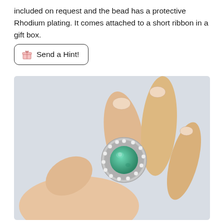included on request and the bead has a protective Rhodium plating. It comes attached to a short ribbon in a gift box.
[Figure (other): A rounded rectangular button with a gift box emoji icon and the text 'Send a Hint!']
[Figure (photo): A close-up photo of a hand holding a small round silver charm bead with a green crystal center surrounded by small white crystal stones, displayed against a light grey background.]